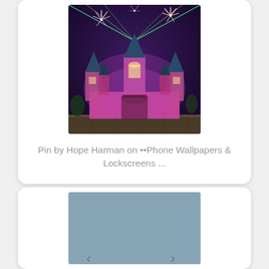[Figure (photo): Disneyland Sleeping Beauty Castle at night with colorful fireworks, pink and purple lighting projections on the castle facade]
Pin by Hope Harman on ••Phone Wallpapers & Lockscreens ...
[Figure (photo): Partially visible second card with a blue-gray image, bottom cut off]